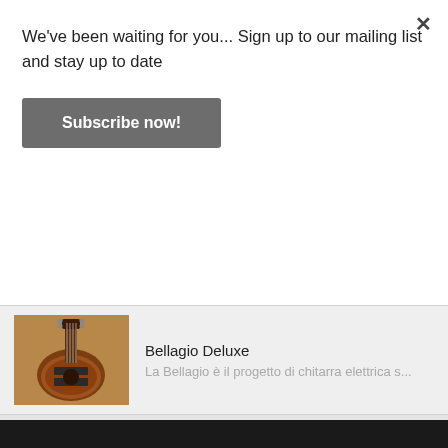We've been waiting for you... Sign up to our mailing list and stay up to date
Subscribe now!
Bellagio Deluxe
La Bellagio è il progetto di chitarra elettrica s...
SEGUIMI E METTI "MI PIACE"
[Figure (illustration): Four social media icons: email (grey circle), Facebook (blue circle with f), YouTube (red circle with You/Tube), Instagram (pink circle with camera icon)]